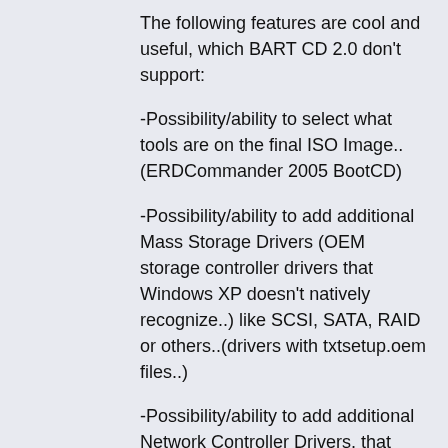The following features are cool and useful, which BART CD 2.0 don't support:
-Possibility/ability to select what tools are on the final ISO Image.. (ERDCommander 2005 BootCD)
-Possibility/ability to add additional Mass Storage Drivers (OEM storage controller drivers that Windows XP doesn't natively recognize..) like SCSI, SATA, RAID or others..(drivers with txtsetup.oem files..)
-Possibility/ability to add additional Network Controller Drivers, that Windows XP doesn't natively recognize (Setup files *.inf..)
-Possibility/ability to access the Internet
-Integrated Crash Analyser Support and selection where are the needed Debugging Tools for Windows located..